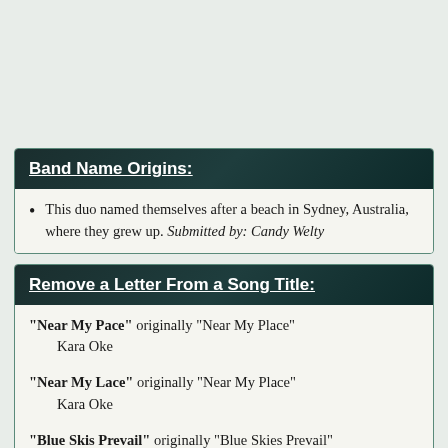Band Name Origins:
This duo named themselves after a beach in Sydney, Australia, where they grew up. Submitted by: Candy Welty
Remove a Letter From a Song Title:
"Near My Pace" originally "Near My Place" Kara Oke
"Near My Lace" originally "Near My Place" Kara Oke
"Blue Skis Prevail" originally "Blue Skies Prevail" Yvette Bristle